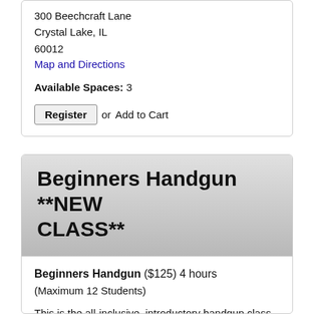300 Beechcraft Lane
Crystal Lake, IL
60012
Map and Directions
Available Spaces: 3
Register or Add to Cart
Beginners Handgun **NEW CLASS**
Beginners Handgun ($125) 4 hours
(Maximum 12 Students)
This is the all-inclusive, introductory handgun class for men and women who are seeking basic handgun training from professional firearm instructors. The goal of the class is to practice safety techniques and discuss the differences of various handguns. Students will learn